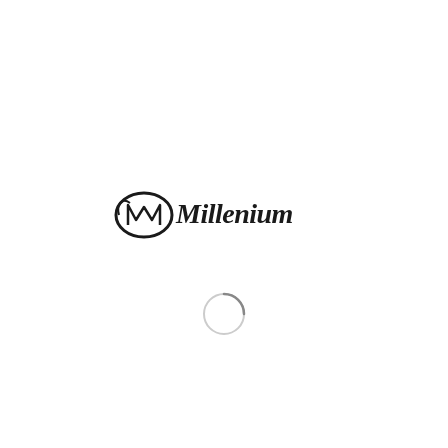[Figure (logo): Millenium brand logo with stylized M in oval and italic script text reading Millenium]
[Figure (other): Loading spinner circle graphic]